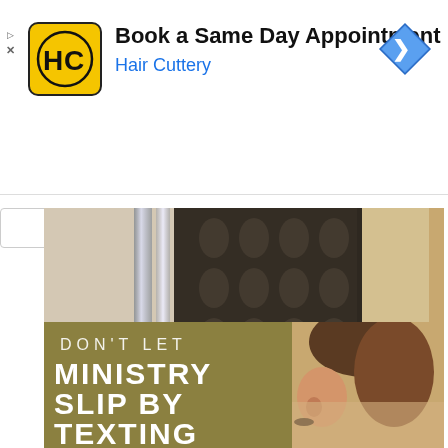[Figure (infographic): Hair Cuttery advertisement banner: logo (HC in yellow circle), title 'Book a Same Day Appointment', subtitle 'Hair Cuttery', navigation arrow icon]
[Figure (photo): Interior room photo showing mirrors and patterned wallpaper]
ElectraChime Empire Compass in Linstrom, MN We are
[Figure (infographic): Olive/khaki background with large text reading 'DON'T LET MINISTRY SLIP BY TEXTING' with a woman's silhouette on the right side]